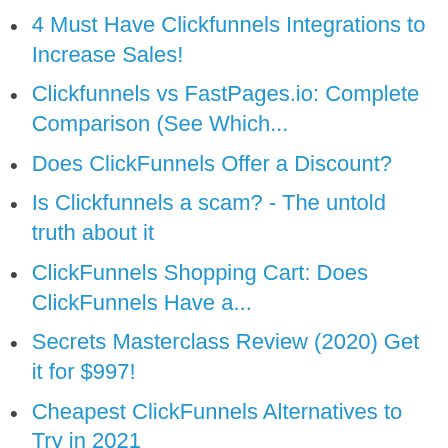4 Must Have Clickfunnels Integrations to Increase Sales!
Clickfunnels vs FastPages.io: Complete Comparison (See Which...
Does ClickFunnels Offer a Discount?
Is Clickfunnels a scam? - The untold truth about it
ClickFunnels Shopping Cart: Does ClickFunnels Have a...
Secrets Masterclass Review (2020) Get it for $997!
Cheapest ClickFunnels Alternatives to Try in 2021
How to Use ClickFunnels for Real